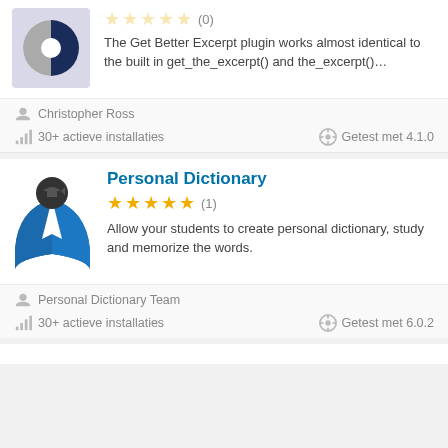[Figure (logo): Plugin logo: half-circle split dark navy and grey on lavender background]
The Get Better Excerpt plugin works almost identical to the built in get_the_excerpt() and the_excerpt()...
Christopher Ross
30+ actieve installaties
Getest met 4.1.0
Personal Dictionary
[Figure (logo): Personal Dictionary plugin logo: blue open book with dark circle person icon on top]
Allow your students to create personal dictionary, study and memorize the words.
Personal Dictionary Team
30+ actieve installaties
Getest met 6.0.2